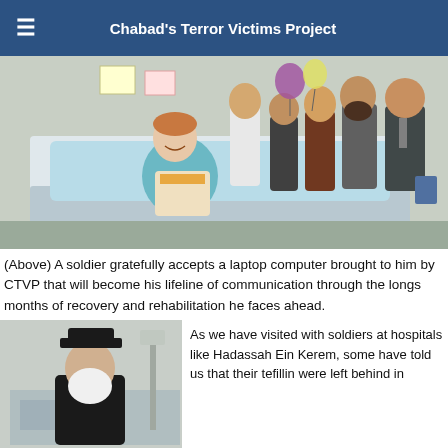Chabad's Terror Victims Project
[Figure (photo): A soldier in a hospital bed in teal scrubs, smiling, with a bag on his lap. Several people stand around him in a hospital room with balloons and decorations.]
(Above) A soldier gratefully accepts a laptop computer brought to him by CTVP that will become his lifeline of communication through the longs months of recovery and rehabilitation he faces ahead.
[Figure (photo): An elderly rabbi with a white beard and black hat visiting in a hospital setting.]
As we have visited with soldiers at hospitals like Hadassah Ein Kerem, some have told us that their tefillin were left behind in